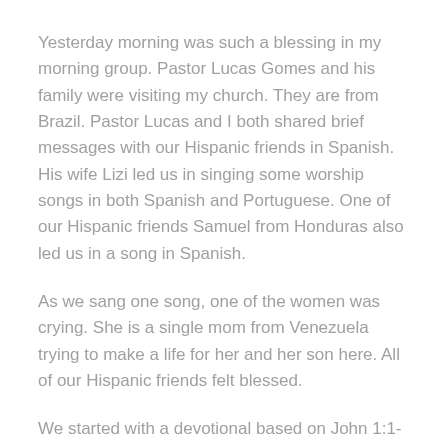Yesterday morning was such a blessing in my morning group. Pastor Lucas Gomes and his family were visiting my church. They are from Brazil. Pastor Lucas and I both shared brief messages with our Hispanic friends in Spanish. His wife Lizi led us in singing some worship songs in both Spanish and Portuguese. One of our Hispanic friends Samuel from Honduras also led us in a song in Spanish.
As we sang one song, one of the women was crying. She is a single mom from Venezuela trying to make a life for her and her son here. All of our Hispanic friends felt blessed.
We started with a devotional based on John 1:1-3: